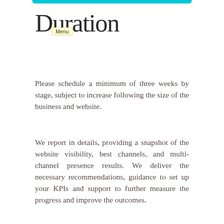Duration
Please schedule a minimum of three weeks by stage, subject to increase following the size of the business and website.
We report in details, providing a snapshot of the website visibility, best channels, and multi-channel presence results. We deliver the necessary recommendations, guidance to set up your KPIs and support to further measure the progress and improve the outcomes.
Audit Bundle
The Audit Bundle includes, in this order, Usability and Performance Audit, Visibility Audit and Competitive Audit. In this case, we group the tasks, reuse the information gathered during a step to conduct the next one. Thus, the Audit Pack saves nearly 40% compared to adding each step taken